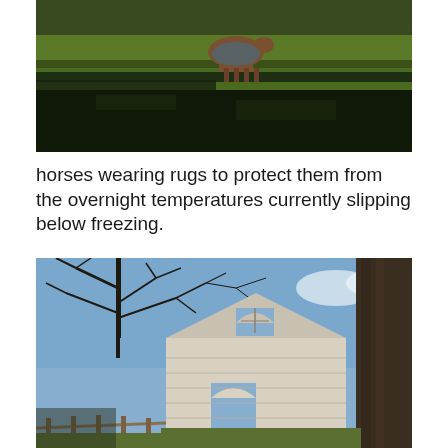[Figure (photo): Photo of horses wearing rugs in a green field, with dark shadowed foreground and bright green grass in the background under winter sunlight]
horses wearing rugs to protect them from the overnight temperatures currently slipping below freezing.
[Figure (photo): Photo of a historic stone church building visible through bare winter trees, with blue sky and a wooden fence in the foreground]